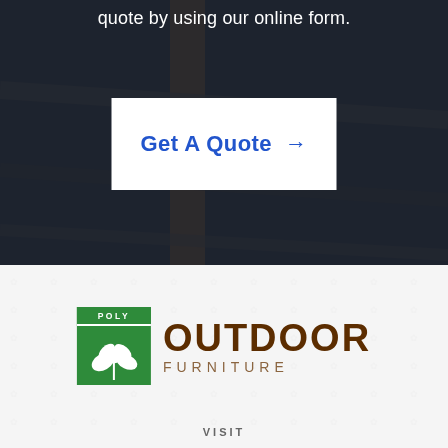quote by using our online form.
[Figure (other): Call-to-action button: 'Get A Quote →' white rectangle on dark furniture background]
[Figure (logo): Poly Outdoor Furniture logo with green badge containing leaf illustration and 'POLY' text, next to brown text 'OUTDOOR FURNITURE']
VISIT